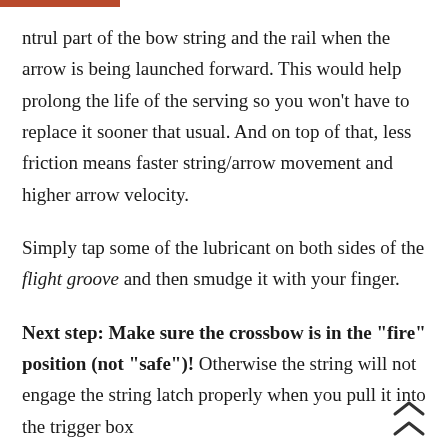ntrul part of the bow string and the rail when the arrow is being launched forward. This would help prolong the life of the serving so you won't have to replace it sooner that usual. And on top of that, less friction means faster string/arrow movement and higher arrow velocity.
Simply tap some of the lubricant on both sides of the flight groove and then smudge it with your finger.
Next step: Make sure the crossbow is in the "fire" position (not "safe")! Otherwise the string will not engage the string latch properly when you pull it into the trigger box